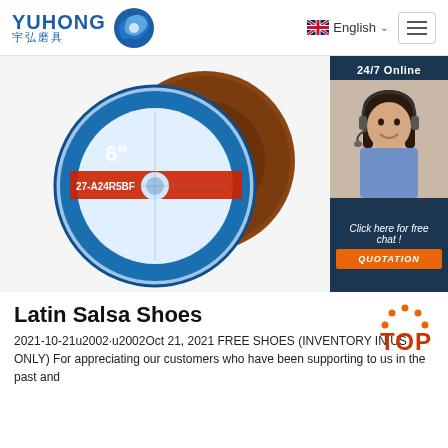YUHONG 宇弘磨具 | English
[Figure (photo): Two abrasive grinding/cutting discs (6 inch labeled 27-A24R5BF) overlapping, with product branding, on a white background]
[Figure (photo): 24/7 Online chat widget showing a smiling female customer service agent wearing a headset, with 'Click here for free chat!' text and an orange QUOTATION button]
Latin Salsa Shoes
2021-10-21u2002·u2002Oct 21, 2021 FREE SHOES (INVENTORY IN US ONLY) For appreciating our customers who have been supporting to us in the past and